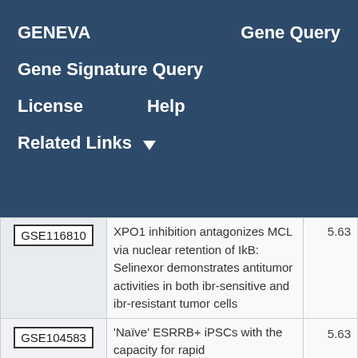GENEVA | Gene Query | Gene Signature Query | License | Help | Related Links
| ID | Description | Score |
| --- | --- | --- |
| GSE116810 | XPO1 inhibition antagonizes MCL via nuclear retention of IkB: Selinexor demonstrates antitumor activities in both ibr-sensitive and ibr-resistant tumor cells | 5.63 |
| GSE104583 | 'Naïve' ESRRB+ iPSCs with the capacity for rapid | 5.63 |